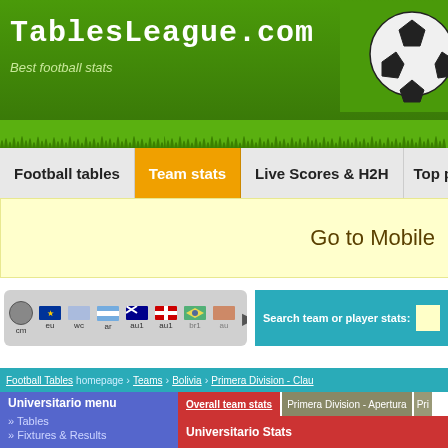TablesLeague.com - Best football stats
TablesLeague.com
Best football stats
[Figure (illustration): Soccer ball on green background]
Football tables | Team stats | Live Scores & H2H | Top pl
Go to Mobile
cm eu wc ar au1 au1 br1 au (flags navigation bar with Search team or player stats)
Football Tables homepage > Teams > Bolivia > Primera Division - Clau
Universitario menu
» Tables
» Fixtures & Results
Overall team stats | Primera Division - Apertura | Pri
Universitario Stats